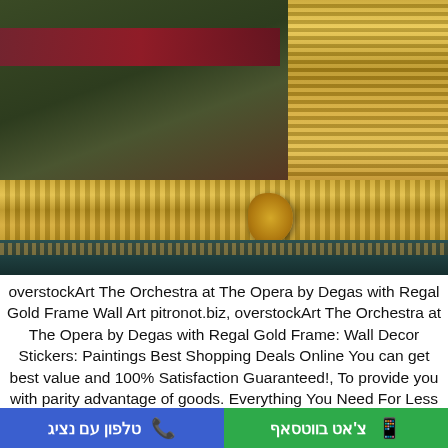[Figure (photo): Close-up photograph of an ornate framed painting showing a gold and dark teal decorative frame with ribbed molding details and a corner ornament. The inner painting shows dark olive/green tones with a maroon/red strip. The frame has elaborate gold fluted columns on the right side and a decorative gold horizontal band at the bottom with a teal outer border.]
overstockArt The Orchestra at The Opera by Degas with Regal Gold Frame Wall Art pitronot.biz, overstockArt The Orchestra at The Opera by Degas with Regal Gold Frame: Wall Decor Stickers: Paintings Best Shopping Deals Online You can get best value and 100% Satisfaction Guaranteed!, To provide you with parity advantage of goods. Everything You Need For Less overstockArt The Orchestra at The Opera by Degas with Regal
טלפון עם נציג | צ'אט בווטסאף